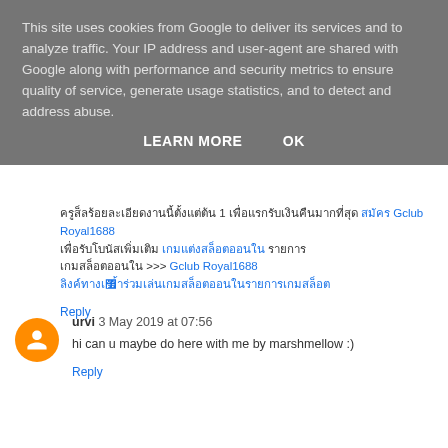This site uses cookies from Google to deliver its services and to analyze traffic. Your IP address and user-agent are shared with Google along with performance and security metrics to ensure quality of service, generate usage statistics, and to detect and address abuse.
LEARN MORE   OK
Thai text comment block with links to Gclub Royal1688 and related content >>> Gclub Royal1688 and link line
Reply
urvi 3 May 2019 at 07:56
hi can u maybe do here with me by marshmellow :)
Reply